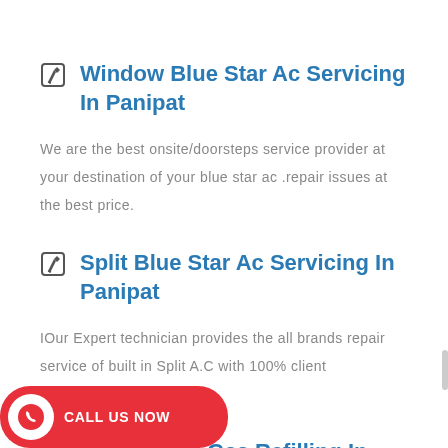Window Blue Star Ac Servicing In Panipat
We are the best onsite/doorsteps service provider at your destination of your blue star ac .repair issues at the best price.
Split Blue Star Ac Servicing In Panipat
IOur Expert technician provides the all brands repair service of built in Split A.C with 100% client satisfaction.
Window AC Gas Refilling In
CALL US NOW